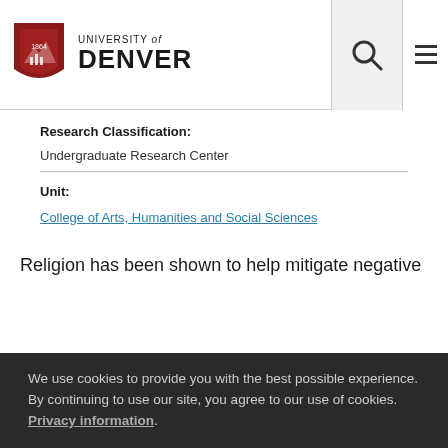University of Denver
Research Classification: Undergraduate Research Center
Unit: College of Arts, Humanities and Social Sciences
Religion has been shown to help mitigate negative
We use cookies to provide you with the best possible experience. By continuing to use our site, you agree to our use of cookies. Privacy information.